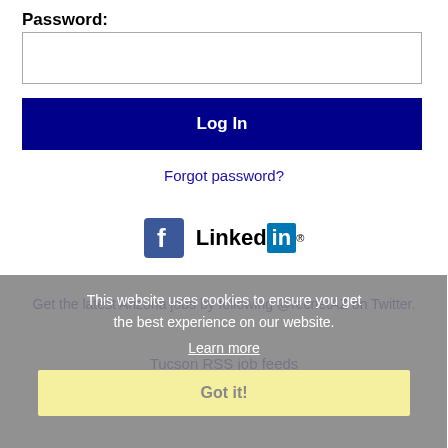Password:
[Figure (screenshot): Password input text field (empty, white background with border)]
[Figure (screenshot): Log In button with dark navy blue background and white bold text]
Forgot password?
[Figure (logo): Facebook and LinkedIn social media logos/icons side by side]
Get the latest Arizona jobs by following @recnetAZ on Twitter.
Tucson RSS job feeds
This website uses cookies to ensure you get the best experience on our website.
Learn more
Got it!